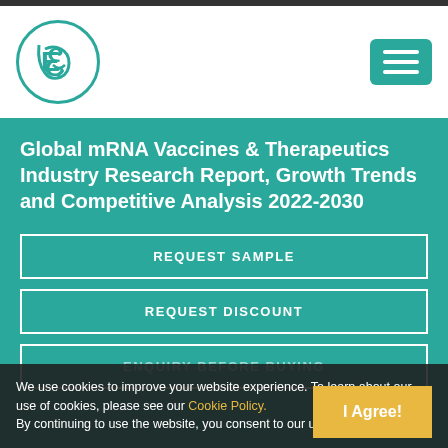[Figure (logo): Circular logo with letter E/2 in teal color on white background with teal border]
Global mRNA Vaccines & Therapeutics Industry Research Report, Growth Trends and Competitive Analysis 2022-2030
REQUEST SAMPLE
REQUEST DISCOUNT
ENQUIRY BEFORE BUYING
We use cookies to improve your website experience. To learn about our use of cookies, please see our Cookie Policy. By continuing to use the website, you consent to our use of cookies.